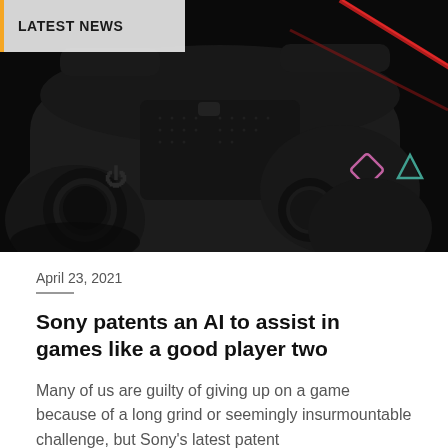[Figure (photo): Close-up dark photo of a PlayStation DualShock controller showing the touchpad, analog sticks, and face buttons (square and triangle visible) with a red LED light strip in the background]
LATEST NEWS
April 23, 2021
Sony patents an AI to assist in games like a good player two
Many of us are guilty of giving up on a game because of a long grind or seemingly insurmountable challenge, but Sony's latest patent